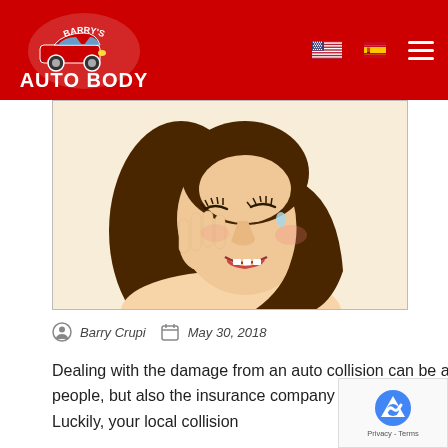Barry's Auto Body
[Figure (illustration): Illustration of a distressed woman crying, holding her hand to her face, with tears on her cheek. Cartoon/vector style with brown hair and light skin tones.]
Barry Crupi   May 30, 2018
Dealing with the damage from an auto collision can be a real hassle. But it's not only the damage that takes a toll on people, but also the insurance company an the stressful processes that comes along with bein involved in a collision. Luckily, your local collision